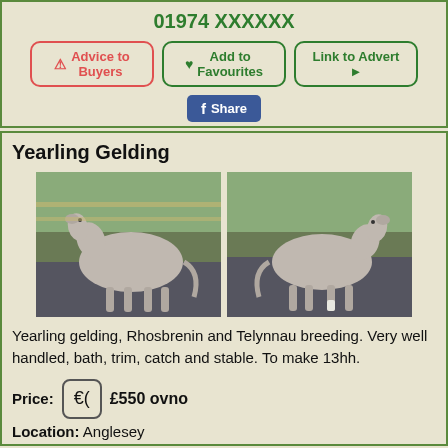01974 XXXXXX
Advice to Buyers
Add to Favourites
Link to Advert
Share
Yearling Gelding
[Figure (photo): Two photos side by side of a grey yearling gelding horse, shown from the side in an outdoor paddock setting.]
Yearling gelding, Rhosbrenin and Telynnau breeding. Very well handled, bath, trim, catch and stable. To make 13hh.
Price: £550 ovno
Location: Anglesey